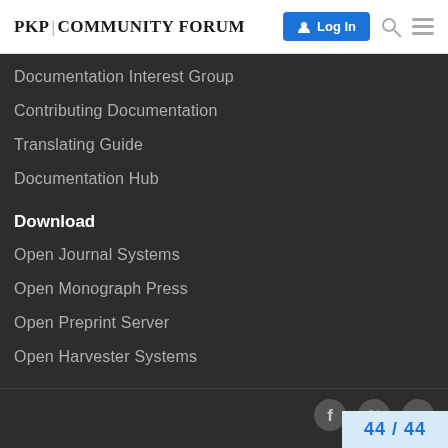PKP|COMMUNITY FORUM
Documentation Interest Group
Contributing Documentation
Translating Guide
Documentation Hub
Download
Open Journal Systems
Open Monograph Press
Open Preprint Server
Open Harvester Systems
44 / 44